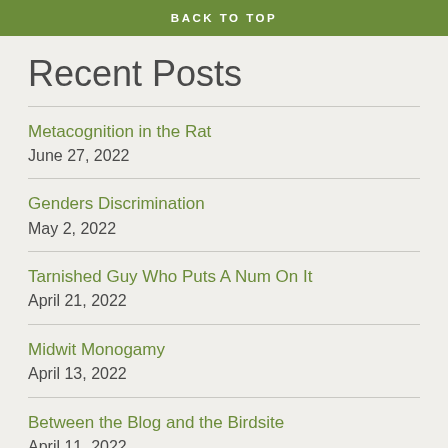BACK TO TOP
Recent Posts
Metacognition in the Rat
June 27, 2022
Genders Discrimination
May 2, 2022
Tarnished Guy Who Puts A Num On It
April 21, 2022
Midwit Monogamy
April 13, 2022
Between the Blog and the Birdsite
April 11, 2022